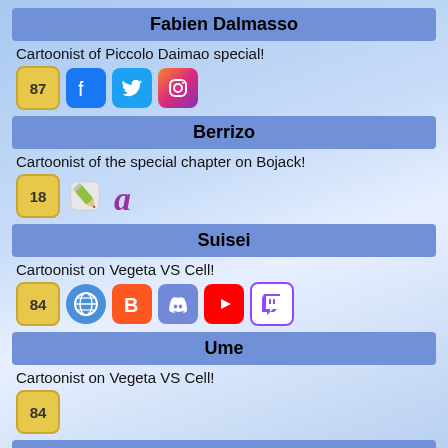Fabien Dalmasso
Cartoonist of Piccolo Daimao special!
[Figure (infographic): Social media icons row: badge 87, Facebook, Twitter, Instagram]
Berrizo
Cartoonist of the special chapter on Bojack!
[Figure (infographic): Icons row: badge 18, pencil icon, cursive a icon]
Suisei
Cartoonist on Vegeta VS Cell!
[Figure (infographic): Icons row: badge 84, globe/web, Blogger, Discord, YouTube, Twitch]
Ume
Cartoonist on Vegeta VS Cell!
[Figure (infographic): Icons row: badge 84]
dsp27
Cartoonist of the special chapter universe 4 and 9!